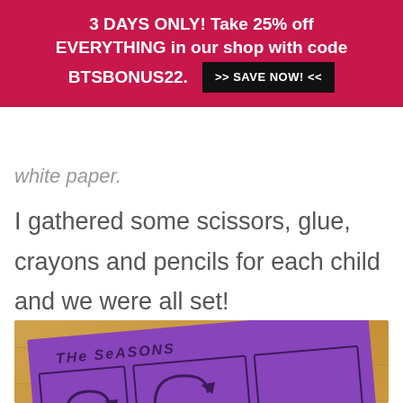3 DAYS ONLY! Take 25% off EVERYTHING in our shop with code BTSBONUS22. >> SAVE NOW! <<
white paper.
I gathered some scissors, glue, crayons and pencils for each child and we were all set!
[Figure (photo): A purple worksheet titled 'THE SEASONS' on a wooden table, showing a grid layout with circular arrow icons. Below it is a lighter purple/lavender sheet with a grid pattern.]